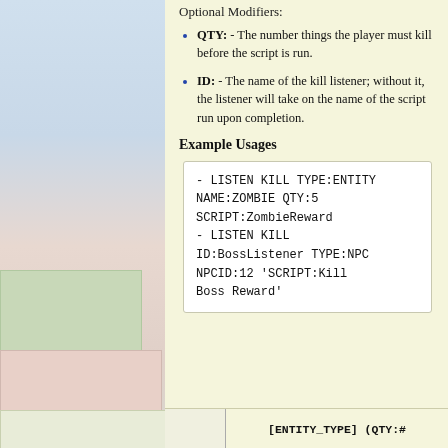Optional Modifiers:
QTY: - The number things the player must kill before the script is run.
ID: - The name of the kill listener; without it, the listener will take on the name of the script run upon completion.
Example Usages
- LISTEN KILL TYPE:ENTITY NAME:ZOMBIE QTY:5 SCRIPT:ZombieReward
- LISTEN KILL ID:BossListener TYPE:NPC NPCID:12 'SCRIPT:Kill Boss Reward'
|  | [ENTITY_TYPE] (QTY:# |
| --- | --- |